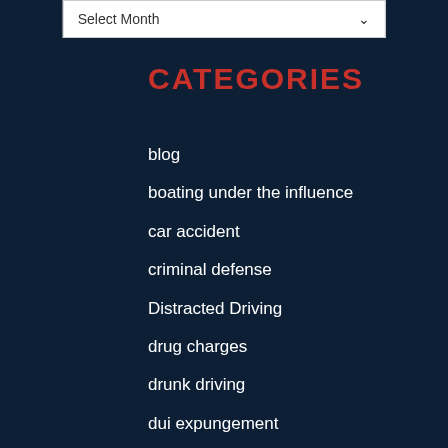Select Month
CATEGORIES
blog
boating under the influence
car accident
criminal defense
Distracted Driving
drug charges
drunk driving
dui expungement
Firm News
Injuries